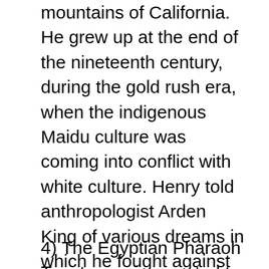mountains of California. He grew up at the end of the nineteenth century, during the gold rush era, when the indigenous Maidu culture was coming into conflict with white culture. Henry told anthropologist Arden King of various dreams in which he fought against native shamans who were jealous of his power. In one of these dreams, Henry “had a dream contest with a shaman who was also the headman at Quincy [a Sierra Nevada town]. In this dream Henry and the shaman were contesting with each other to see who had the most power. This was a fight to the death. The shaman acted first. He loosed a snake which pursued Henry Shipes, but was unable to catch him. Henry then tried his white power. This was stated by him to be specifically white. By ruse he caused the shaman to attempt the lifting of a bucket. The bucket exploded and the dream ended.” [iv]
4) The Egyptian Pharaoh Tanutamon is reported to have had the following dream experience in the first year of his